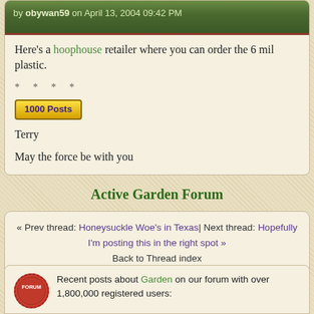by obywan59 on April 13, 2004 09:42 PM
Here's a hoophouse retailer where you can order the 6 mil plastic.
* * * *
1000 Posts
Terry
May the force be with you
Active Garden Forum
« Prev thread: Honeysuckle Woe's in Texas| Next thread: Hopefully I'm posting this in the right spot »
Back to Thread index
Recent posts about Garden on our forum with over 1,800,000 registered users: